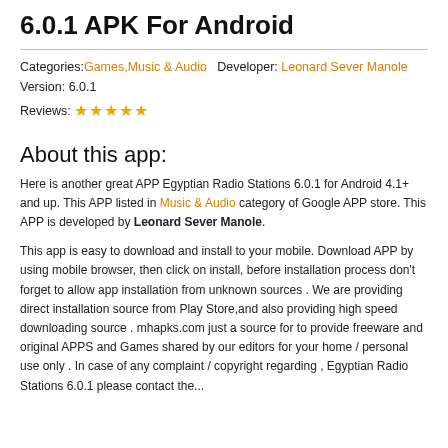6.0.1 APK For Android
Categories: Games, Music & Audio  Developer: Leonard Sever Manole  Version: 6.0.1
Reviews: ★★★★★
About this app:
Here is another great APP Egyptian Radio Stations 6.0.1 for Android 4.1+ and up. This APP listed in Music & Audio category of Google APP store. This APP is developed by Leonard Sever Manole.
This app is easy to download and install to your mobile. Download APP by using mobile browser, then click on install, before installation process don't forget to allow app installation from unknown sources . We are providing direct installation source from Play Store,and also providing high speed downloading source . mhapks.com just a source for to provide freeware and original APPS and Games shared by our editors for your home / personal use only . In case of any complaint / copyright regarding , Egyptian Radio Stations 6.0.1 please contact the...